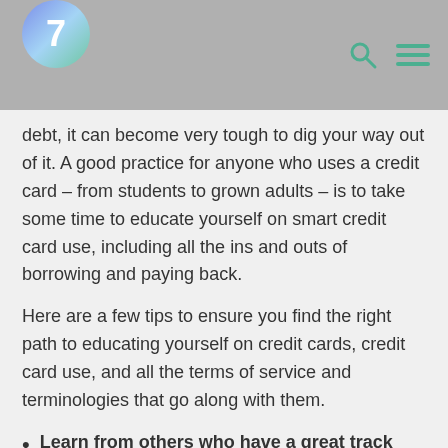7
debt, it can become very tough to dig your way out of it. A good practice for anyone who uses a credit card – from students to grown adults – is to take some time to educate yourself on smart credit card use, including all the ins and outs of borrowing and paying back.
Here are a few tips to ensure you find the right path to educating yourself on credit cards, credit card use, and all the terms of service and terminologies that go along with them.
Learn from others who have a great track record. If you have a relative or friend with great credit and a good history of staying out of debt, invite him or her to lunch so you can pick their brain on how to establish good credit as well as how to stay out of debt.